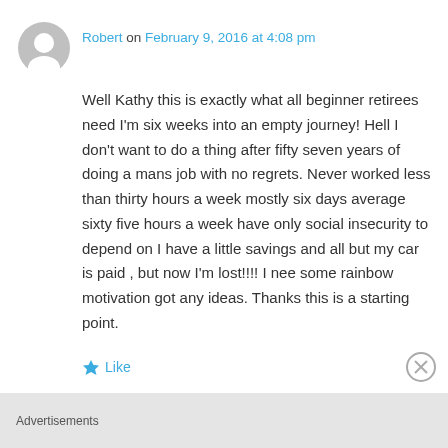[Figure (illustration): Gray circular avatar icon with a person silhouette]
Robert on February 9, 2016 at 4:08 pm
Well Kathy this is exactly what all beginner retirees need I'm six weeks into an empty journey! Hell I don't want to do a thing after fifty seven years of doing a mans job with no regrets. Never worked less than thirty hours a week mostly six days average sixty five hours a week have only social insecurity to depend on I have a little savings and all but my car is paid , but now I'm lost!!!! I nee some rainbow motivation got any ideas. Thanks this is a starting point.
Like
Advertisements